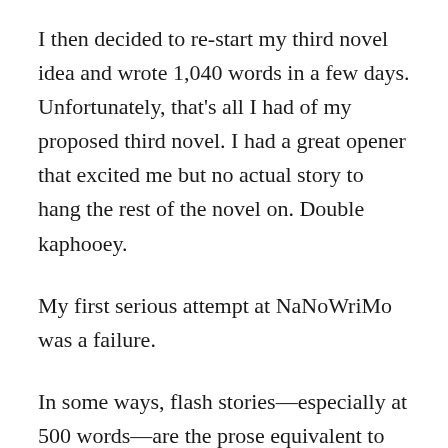I then decided to re-start my third novel idea and wrote 1,040 words in a few days. Unfortunately, that's all I had of my proposed third novel. I had a great opener that excited me but no actual story to hang the rest of the novel on. Double kaphooey.
My first serious attempt at NaNoWriMo was a failure.
In some ways, flash stories—especially at 500 words—are the prose equivalent to writing haiku poems. You need to master the form and let the form master you. Once you have reached that level of writing, a flash story or